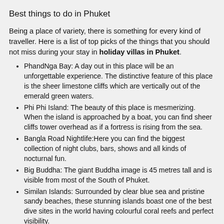Best things to do in Phuket
Being a place of variety, there is something for every kind of traveller. Here is a list of top picks of the things that you should not miss during your stay in holiday villas in Phuket.
PhandNga Bay: A day out in this place will be an unforgettable experience. The distinctive feature of this place is the sheer limestone cliffs which are vertically out of the emerald green waters.
Phi Phi Island: The beauty of this place is mesmerizing. When the island is approached by a boat, you can find sheer cliffs tower overhead as if a fortress is rising from the sea.
Bangla Road Nightlife:Here you can find the biggest collection of night clubs, bars, shows and all kinds of nocturnal fun.
Big Buddha: The giant Buddha image is 45 metres tall and is visible from most of the South of Phuket.
Similan Islands: Surrounded by clear blue sea and pristine sandy beaches, these stunning islands boast one of the best dive sites in the world having colourful coral reefs and perfect visibility.
Night markets: The night markets of Phuket have a unique charm. You can buy interesting souvenirs at low prices and to